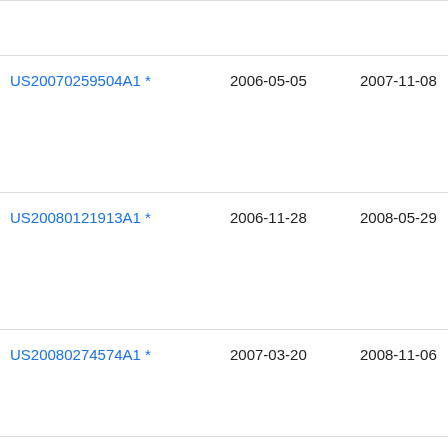| Publication number | Filing date | Publication date | Assignee |
| --- | --- | --- | --- |
| US20070259504A1 * | 2006-05-05 | 2007-11-08 | App
Ma |
| US20080121913A1 * | 2006-11-28 | 2008-05-29 | Me
Lim |
| US20080274574A1 * | 2007-03-20 | 2008-11-06 | Lun
Dev |
| US7452739B2 | 2006-03-09 | 2008-11-18 | Ser
Pho
Ltd |
| US20080303033A1 | 2007-06-05 | 2008-12-11 | Cre |